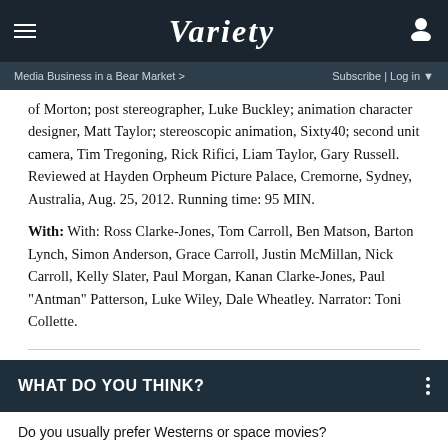VARIETY
Media Business in a Bear Market >  Subscribe | Log in
of Morton; post stereographer, Luke Buckley; animation character designer, Matt Taylor; stereoscopic animation, Sixty40; second unit camera, Tim Tregoning, Rick Rifici, Liam Taylor, Gary Russell. Reviewed at Hayden Orpheum Picture Palace, Cremorne, Sydney, Australia, Aug. 25, 2012. Running time: 95 MIN.
With: With: Ross Clarke-Jones, Tom Carroll, Ben Matson, Barton Lynch, Simon Anderson, Grace Carroll, Justin McMillan, Nick Carroll, Kelly Slater, Paul Morgan, Kanan Clarke-Jones, Paul "Antman" Patterson, Luke Wiley, Dale Wheatley. Narrator: Toni Collette.
WHAT DO YOU THINK?
Do you usually prefer Westerns or space movies?
Westerns